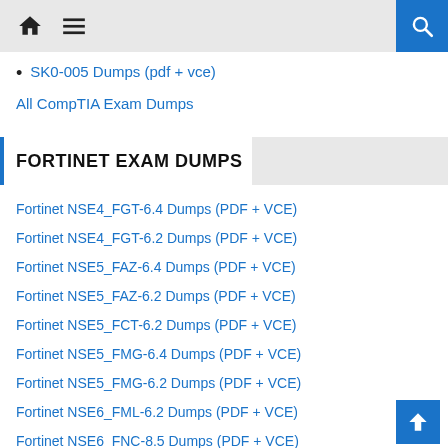Navigation bar with home, menu, and search icons
SK0-005 Dumps (pdf + vce)
All CompTIA Exam Dumps
FORTINET EXAM DUMPS
Fortinet NSE4_FGT-6.4 Dumps (PDF + VCE)
Fortinet NSE4_FGT-6.2 Dumps (PDF + VCE)
Fortinet NSE5_FAZ-6.4 Dumps (PDF + VCE)
Fortinet NSE5_FAZ-6.2 Dumps (PDF + VCE)
Fortinet NSE5_FCT-6.2 Dumps (PDF + VCE)
Fortinet NSE5_FMG-6.4 Dumps (PDF + VCE)
Fortinet NSE5_FMG-6.2 Dumps (PDF + VCE)
Fortinet NSE6_FML-6.2 Dumps (PDF + VCE)
Fortinet NSE6_FNC-8.5 Dumps (PDF + VCE)
Fortinet NSE7_EFW-6.4 Dumps (PDF + VCE)